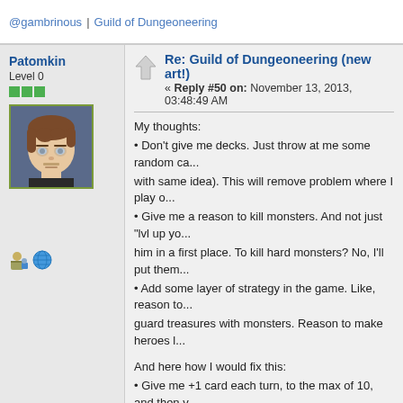@gambrinous | Guild of Dungeoneering
Patomkin
Level 0
Re: Guild of Dungeoneering (new art!)
« Reply #50 on: November 13, 2013, 03:48:49 AM
My thoughts:
• Don't give me decks. Just throw at me some random ca... with same idea). This will remove problem where I play o...
• Give me a reason to kill monsters. And not just "lvl up yo... him in a first place. To kill hard monsters? No, I'll put them...
• Add some layer of strategy in the game. Like, reason to... guard treasures with monsters. Reason to make heroes l...

And here how I would fix this:
• Give me +1 card each turn, to the max of 10, and then v...
• Add "End turn" button, so I could skip some turns, if her... play, or I don't what to play them now.
• Don't limit player on how much cards he can play.
• Make cards to cost Manna crystals (for example). This w... playing few cards at once or one high cost card.
• Link heroes lvl with Mana crystals. Now I must kill mons... example, max. manna per turn = heroes lvl.)
• Add some "combo bonus" to the cards. For example, if l... for doing this. This will force me to combine cards togethe... water monster in water room, put torch in a room and add...